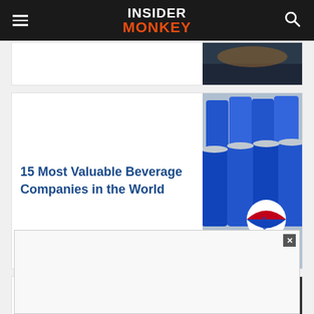INSIDER MONKEY
[Figure (photo): Partially visible article card at top of page, thumbnail of a dark scene]
15 Most Valuable Beverage Companies in the World
[Figure (photo): Blue Pepsi cans grouped together, showing the Pepsi logo]
Dow 30 Stocks Listed and Ranked By 2022 Hedge
[Figure (photo): Smartphone showing stock market chart on a dark wooden desk]
[Figure (other): Advertisement overlay with close button (x) in bottom portion of page]